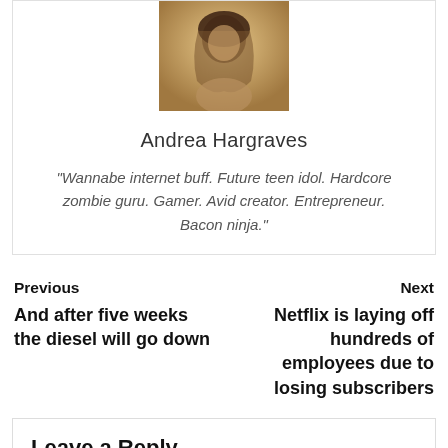[Figure (photo): Profile photo of Andrea Hargraves — a person with dark hair in warm/sepia tones]
Andrea Hargraves
“Wannabe internet buff. Future teen idol. Hardcore zombie guru. Gamer. Avid creator. Entrepreneur. Bacon ninja.”
Previous
And after five weeks the diesel will go down
Next
Netflix is laying off hundreds of employees due to losing subscribers
Leave a Reply
Your email address will not be published.
Required fields are marked *